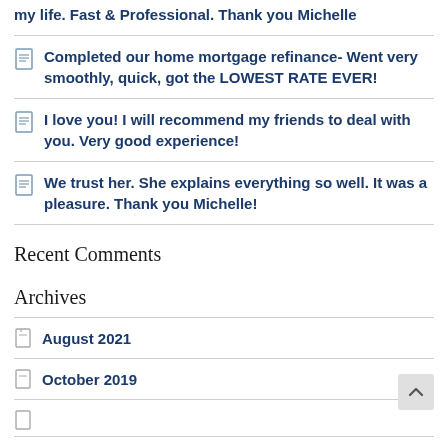my life. Fast & Professional. Thank you Michelle
Completed our home mortgage refinance- Went very smoothly, quick, got the LOWEST RATE EVER!
I love you! I will recommend my friends to deal with you. Very good experience!
We trust her. She explains everything so well. It was a pleasure. Thank you Michelle!
Recent Comments
Archives
August 2021
October 2019